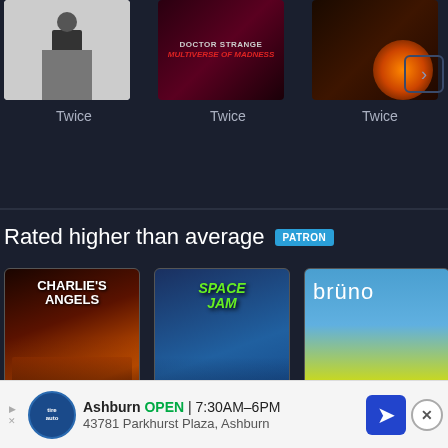[Figure (screenshot): Three movie thumbnails in a row, each labeled 'Twice' underneath. First is a person on white background, second is Doctor Strange in the Multiverse of Madness poster, third is a dark/fire scene.]
Twice
Twice
Twice
Rated higher than average PATRON
[Figure (photo): Charlie's Angels movie poster - three women in black on fiery orange background]
[Figure (photo): Space Jam movie poster - colorful animated style with Space Jam logo]
[Figure (photo): Bruno movie poster - person in yellow shorts on green field with 'brüno' title text]
Ashburn OPEN 7:30AM–6PM 43781 Parkhurst Plaza, Ashburn